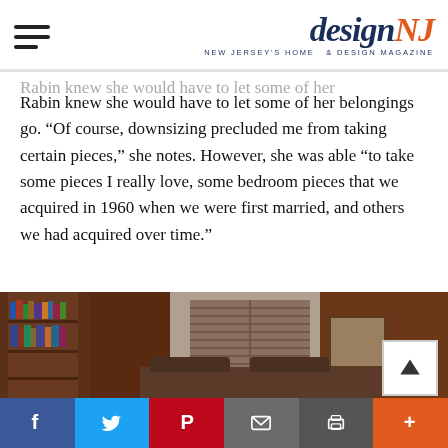designNJ — New Jersey's Home & Design Magazine
Rabin knew she would have to let some of her belongings go. “Of course, downsizing precluded me from taking certain pieces,” she notes. However, she was able “to take some pieces I really love, some bedroom pieces that we acquired in 1960 when we were first married, and others we had acquired over time.”
[Figure (photo): Interior photo of a living room with dark wood built-in bookshelves filled with books, a window with blinds in the background, a floor lamp, and a sofa visible in the foreground.]
Social sharing bar: Facebook, Twitter, Pinterest, Email, Print, More